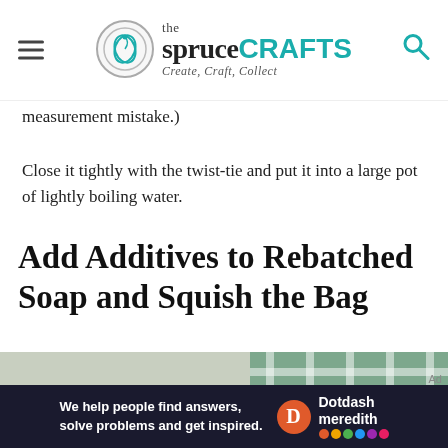the spruceCRAFTS — Create, Craft, Collect
measurement mistake.)
Close it tightly with the twist-tie and put it into a large pot of lightly boiling water.
Add Additives to Rebatched Soap and Squish the Bag
[Figure (photo): A clear plastic bag containing golden-brown soap sitting in or near boiling water, with a green and white cloth in the background.]
We help people find answers, solve problems and get inspired. Dotdash meredith